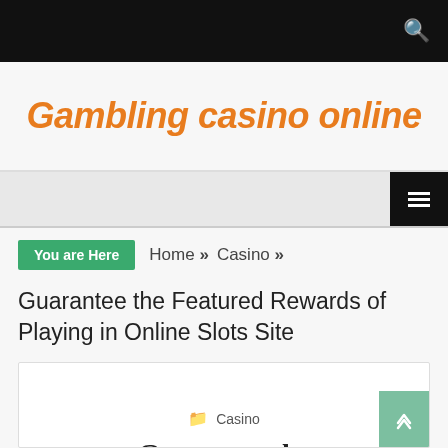Gambling casino online
You are Here  Home » Casino »
Guarantee the Featured Rewards of Playing in Online Slots Site
Casino
Guarantee the